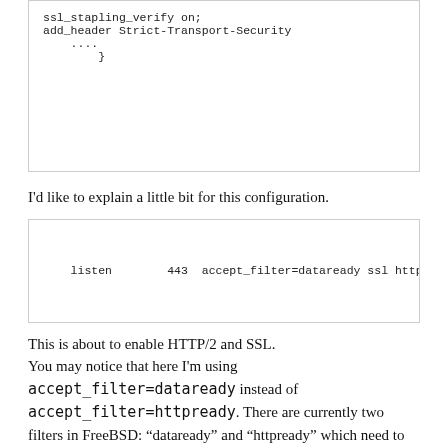[Figure (screenshot): Code block showing nginx config: ssl_stapling_verify on; add_header Strict-Transport-Security .... }]
I'd like to explain a little bit for this configuration.
[Figure (screenshot): Code block showing: listen 443 accept_filter=dataready ssl http2;]
This is about to enable HTTP/2 and SSL.
You may notice that here I'm using accept_filter=dataready instead of accept_filter=httpready. There are currently two filters in FreeBSD: "dataready" and "httpready" which need to started at boot by adding accf_data_load="YES" and